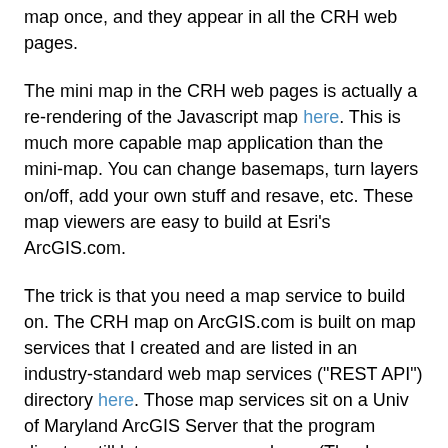map once, and they appear in all the CRH web pages.
The mini map in the CRH web pages is actually a re-rendering of the Javascript map here.  This is much more capable map application than the mini-map.  You can change basemaps, turn layers on/off, add your own stuff and resave, etc.  These map viewers are easy to build at Esri's ArcGIS.com.
The trick is that you need a map service to build on.  The CRH map on ArcGIS.com is built on map services that I created and are listed in an industry-standard web map services ("REST API") directory here.  Those map services sit on a Univ of Maryland ArcGIS Server that the program director still lets me access and use.  (Thanks again to Dr. Jianguo Ma.)
Down at this foundation level -- map services -- is where the GIS/cartographer skills come in.  Using ArcGIS desktop software to author the map that produces the map service on the ArcGIS Server.  But once a web programmer (I don't mean me) knows the "/MapServer" URL above, she can